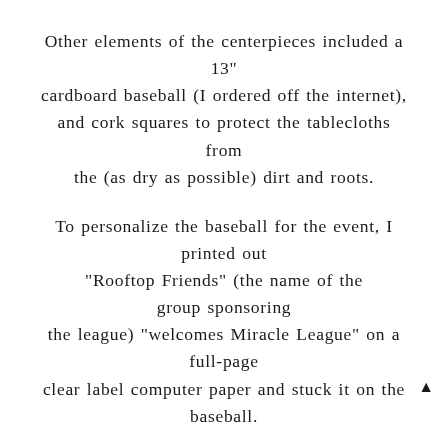Other elements of the centerpieces included a 13" cardboard baseball (I ordered off the internet), and cork squares to protect the tablecloths from the (as dry as possible) dirt and roots.

To personalize the baseball for the event, I printed out "Rooftop Friends" (the name of the group sponsoring the league) "welcomes Miracle League" on a full-page clear label computer paper and stuck it on the baseball.